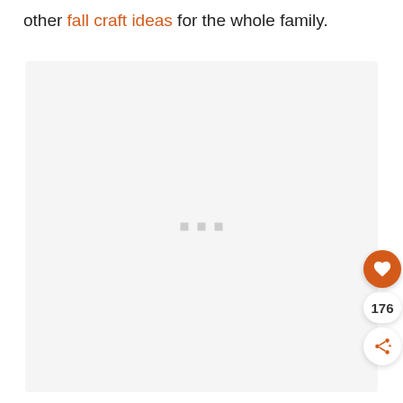other fall craft ideas for the whole family.
[Figure (photo): Loading placeholder for an image — light gray rectangle with three small gray loading indicator squares centered in it. An orange heart/like button (176 likes) and a share button are overlaid on the right side.]